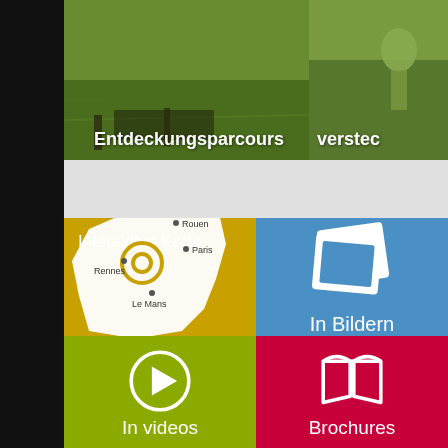[Figure (screenshot): Mobile app screenshot showing top photo strip with grass/garden images labeled 'Entdeckungsparcours' and 'verstec', a gray bar, and a 2x2 tile grid with: yellow tile 'Interaktive Karte' with map illustration, blue tile 'In Bildern' with photo stack icon, green tile 'In videos' with play button icon, red tile 'Brochures' with open book icon]
Entdeckungsparcours
verstec
Interaktive Karte
In Bildern
In videos
Brochures